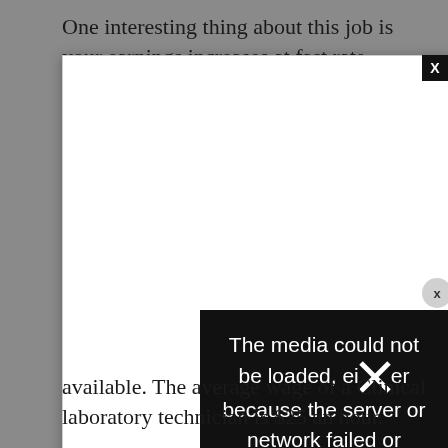One interesting thing about this job is your earnings increases at fast rate.
[Figure (other): A white modal/dialog box overlay on a grey background with a black X close button in the top right corner, containing a video player that failed to load. A circular X button appears on the right side. An error overlay panel with black background shows the message: 'The media could not be loaded, either because the server or network failed or because the' with a large white X mark overlaid.]
available. The average wage of a Clinical laboratory technician is $25 an hour.